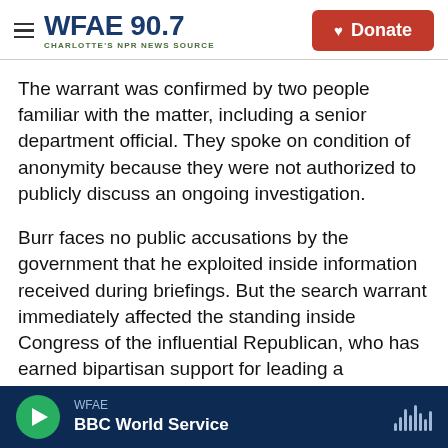WFAE 90.7 — CHARLOTTE'S NPR NEWS SOURCE | Donate
The warrant was confirmed by two people familiar with the matter, including a senior department official. They spoke on condition of anonymity because they were not authorized to publicly discuss an ongoing investigation.
Burr faces no public accusations by the government that he exploited inside information received during briefings. But the search warrant immediately affected the standing inside Congress of the influential Republican, who has earned bipartisan support for leading a congressional investigation into Russian interference in the 2016
WFAE | BBC World Service